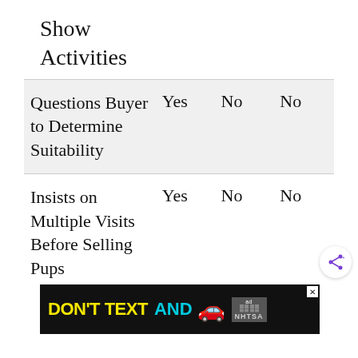Show Activities
|  | Yes | No | No |
| --- | --- | --- | --- |
| Questions Buyer to Determine Suitability | Yes | No | No |
| Insists on Multiple Visits Before Selling Pups | Yes | No | No |
[Figure (other): Advertisement banner: DON'T TEXT AND [car emoji] ad badge NHTSA]